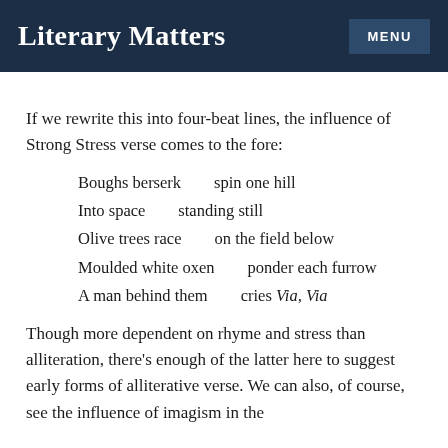Literary Matters
If we rewrite this into four-beat lines, the influence of Strong Stress verse comes to the fore:
Boughs berserk        spin one hill
Into space       standing still
Olive trees race       on the field below
Moulded white oxen       ponder each furrow
A man behind them       cries Via, Via
Though more dependent on rhyme and stress than alliteration, there’s enough of the latter here to suggest early forms of alliterative verse. We can also, of course, see the influence of imagism in the